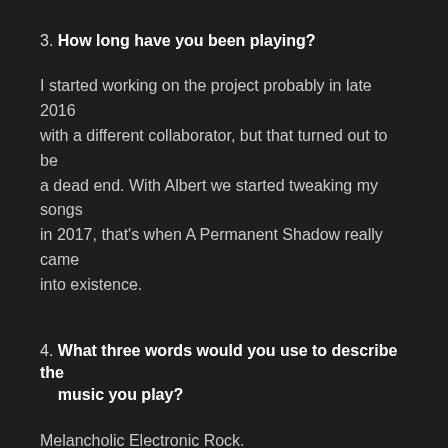3. How long have you been playing?
I started working on the project probably in late 2016 with a different collaborator, but that turned out to be a dead end. With Albert we started tweaking my songs in 2017, that’s when A Permanent Shadow really came into existence.
4. What three words would you use to describe the music you play?
Melancholic Electronic Rock.
5. What are your musical influences?